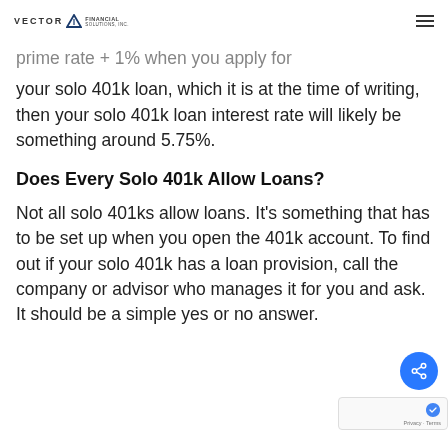VECTOR Financial Solutions, Inc.
prime rate + 1% when you apply for your solo 401k loan, which it is at the time of writing, then your solo 401k loan interest rate will likely be something around 5.75%.
Does Every Solo 401k Allow Loans?
Not all solo 401ks allow loans. It's something that has to be set up when you open the 401k account. To find out if your solo 401k has a loan provision, call the company or advisor who manages it for you and ask. It should be a simple yes or no answer.